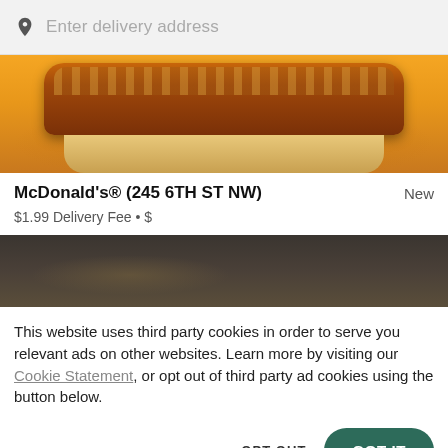Enter delivery address
[Figure (photo): Crispy chicken sandwich / strip on an orange-yellow background, partially visible bun below]
McDonald's® (245 6TH ST NW)   New
$1.99 Delivery Fee • $
[Figure (photo): Dark background partial food photo, partially cut off]
This website uses third party cookies in order to serve you relevant ads on other websites. Learn more by visiting our Cookie Statement, or opt out of third party ad cookies using the button below.
OPT OUT
GOT IT